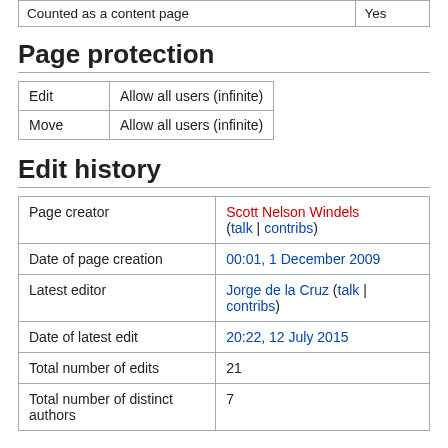| Counted as a content page | Yes |
| --- | --- |
Page protection
| Edit | Move |
| --- | --- |
| Edit | Allow all users (infinite) |
| Move | Allow all users (infinite) |
Edit history
| Page creator | Scott Nelson Windels (talk | contribs) |
| Date of page creation | 00:01, 1 December 2009 |
| Latest editor | Jorge de la Cruz (talk | contribs) |
| Date of latest edit | 20:22, 12 July 2015 |
| Total number of edits | 21 |
| Total number of distinct authors | 7 |